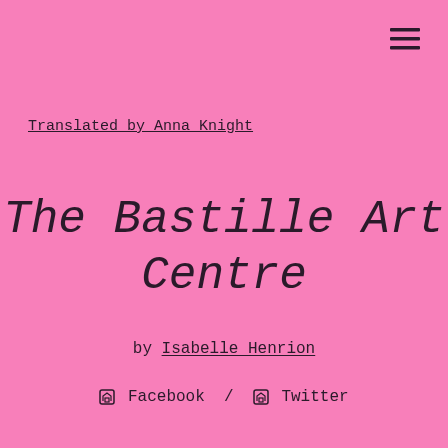[Figure (other): Hamburger menu icon (three horizontal lines) in top right corner]
Translated by Anna Knight
The Bastille Art Centre
by Isabelle Henrion
📋 Facebook / 📋 Twitter